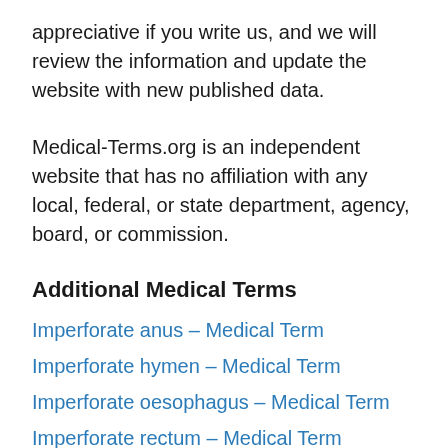appreciative if you write us, and we will review the information and update the website with new published data.
Medical-Terms.org is an independent website that has no affiliation with any local, federal, or state department, agency, board, or commission.
Additional Medical Terms
Imperforate anus – Medical Term
Imperforate hymen – Medical Term
Imperforate oesophagus – Medical Term
Imperforate rectum – Medical Term